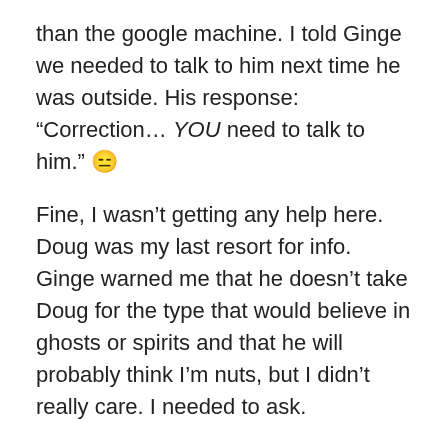than the google machine. I told Ginge we needed to talk to him next time he was outside. His response: “Correction… YOU need to talk to him.” 😑
Fine, I wasn’t getting any help here. Doug was my last resort for info. Ginge warned me that he doesn’t take Doug for the type that would believe in ghosts or spirits and that he will probably think I’m nuts, but I didn’t really care. I needed to ask.
All of my texting/internet investigating was going on while I was sitting in the parking lot of Living Spaces waiting for Trace to finish his car nap in the backseat (yes, we’ve resorted to car naps on weekends). After he awoke, and after our unsuccessful bookshelf shopping experience, we came home, and LO AND BEHOLD, there was Doug, working outside near his garage, hobbling around with his